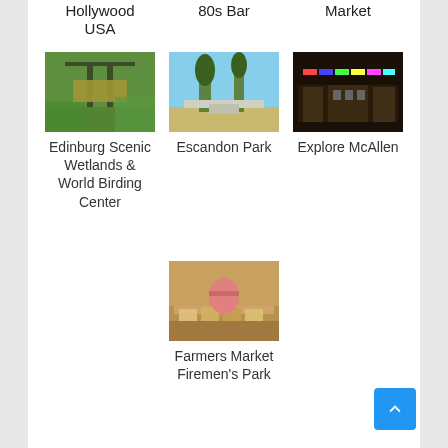Hollywood USA
80s Bar
Market
[Figure (photo): Edinburg Scenic Wetlands & World Birding Center sign with green foliage]
Edinburg Scenic Wetlands & World Birding Center
[Figure (photo): Escandon Park outdoor area with trees and blue sky]
Escandon Park
[Figure (photo): Explore McAllen store interior with colorful signage]
Explore McAllen
[Figure (photo): Farmers Market Firemen's Park with woman behind market stall displaying products]
Farmers Market Firemen's Park